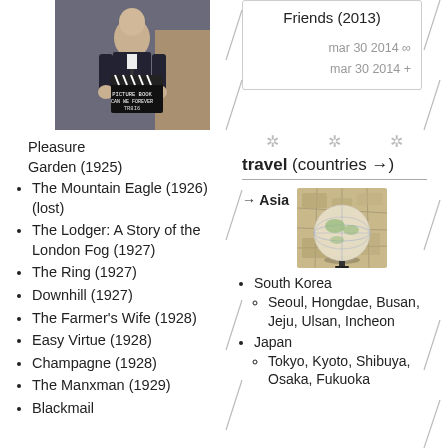[Figure (photo): Person in dark suit holding a film clapperboard with 'TR816' written on it]
Pleasure Garden (1925)
The Mountain Eagle (1926) (lost)
The Lodger: A Story of the London Fog (1927)
The Ring (1927)
Downhill (1927)
The Farmer's Wife (1928)
Easy Virtue (1928)
Champagne (1928)
The Manxman (1929)
Blackmail
Friends (2013)
mar 30 2014 ∞
mar 30 2014 +
travel (countries →)
→ Asia
[Figure (photo): Globe sitting on a map]
South Korea
Seoul, Hongdae, Busan, Jeju, Ulsan, Incheon
Japan
Tokyo, Kyoto, Shibuya, Osaka, Fukuoka